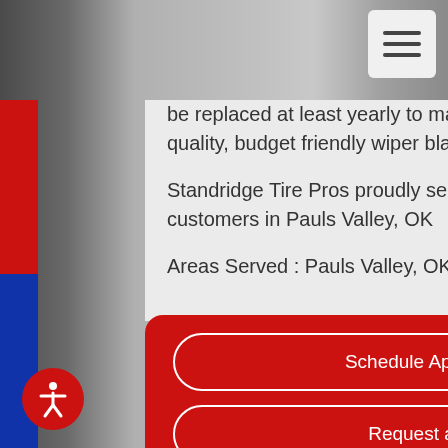be replaced at least yearly to maintain proper wiper operation. Stop by today for quality, budget friendly wiper blade replacement at Standridge Tire Pros.
Standridge Tire Pros proudly serves the Windshield Wiper Blades needs of customers in Pauls Valley, OK
Areas Served : Pauls Valley, OK and surrounding areas
Schedule Appointment
Request a Quote